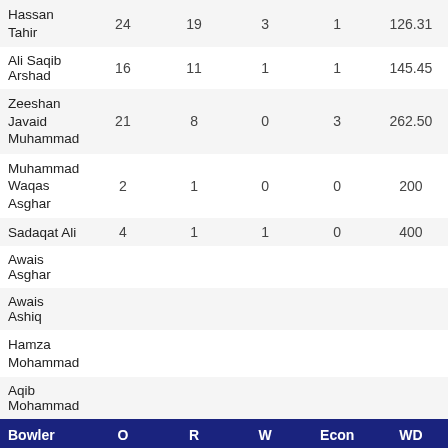| Bowler | O | R | W | Econ | WD |
| --- | --- | --- | --- | --- | --- |
| Hassan Tahir | 24 | 19 | 3 | 1 | 126.31 |
| Ali Saqib Arshad | 16 | 11 | 1 | 1 | 145.45 |
| Zeeshan Javaid Muhammad | 21 | 8 | 0 | 3 | 262.50 |
| Muhammad Waqas Asghar | 2 | 1 | 0 | 0 | 200 |
| Sadaqat Ali | 4 | 1 | 1 | 0 | 400 |
| Awais Asghar |  |  |  |  |  |
| Awais Ashiq |  |  |  |  |  |
| Hamza Mohammad |  |  |  |  |  |
| Aqib Mohammad |  |  |  |  |  |
| Nishshanka Kumarasinghe | 2 | 7 | 0 | 3.50 | 0 |
| Nishan Arachchige | 2 | 10 | 1 | 5 | 1 |
| Dishan Fernando | 2 | 25 | 0 | 12.50 | 3 |
| Sameera | 2 | 18 | 1 | 9 | 0 |